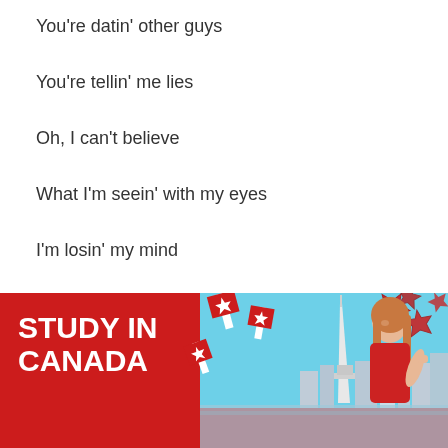You're datin' other guys
You're tellin' me lies
Oh, I can't believe
What I'm seein' with my eyes
I'm losin' my mind
And I don't think it's clever (Think it's clever)
[Figure (illustration): Red advertisement banner reading 'STUDY IN CANADA' with a young woman, CN Tower, Toronto skyline, Canadian flags and maple leaves on a red background.]